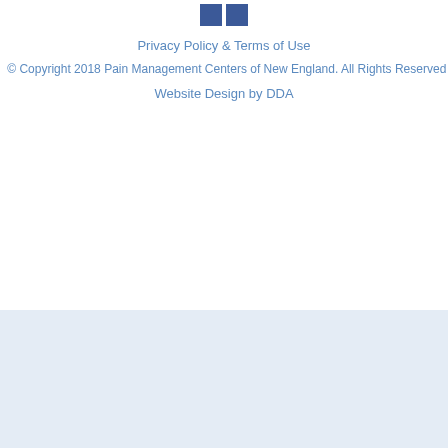[Figure (logo): Two small dark blue square Facebook/social media icons side by side at the top center of the page]
Privacy Policy & Terms of Use
© Copyright 2018 Pain Management Centers of New England. All Rights Reserved |
Website Design by DDA